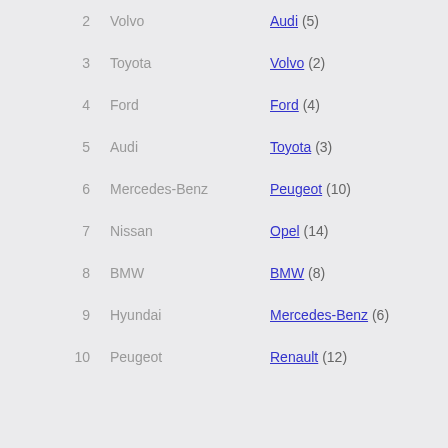2  Volvo  Audi (5)
3  Toyota  Volvo (2)
4  Ford  Ford (4)
5  Audi  Toyota (3)
6  Mercedes-Benz  Peugeot (10)
7  Nissan  Opel (14)
8  BMW  BMW (8)
9  Hyundai  Mercedes-Benz (6)
10  Peugeot  Renault (12)